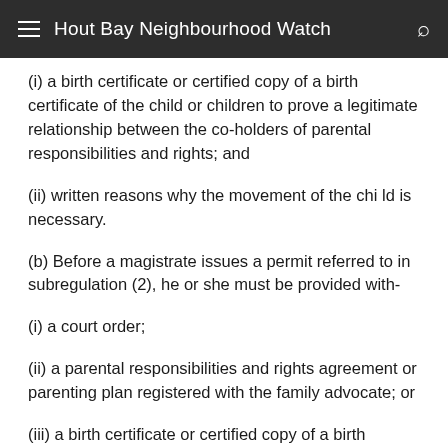Hout Bay Neighbourhood Watch
(i) a birth certificate or certified copy of a birth certificate of the child or children to prove a legitimate relationship between the co-holders of parental responsibilities and rights; and
(ii) written reasons why the movement of the chi ld is necessary.
(b) Before a magistrate issues a permit referred to in subregulation (2), he or she must be provided with-
(i) a court order;
(ii) a parental responsibilities and rights agreement or parenting plan registered with the family advocate; or
(iii) a birth certificate or certified copy of a birth certificate of the child or children to prove a legitimate relationship